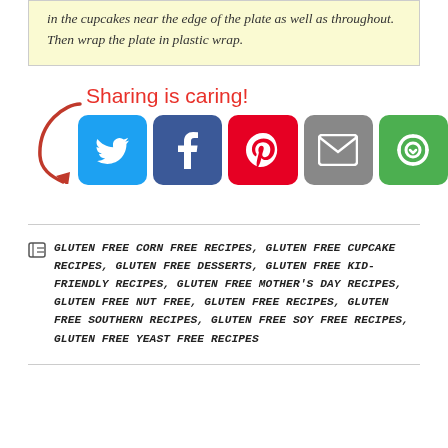in the cupcakes near the edge of the plate as well as throughout. Then wrap the plate in plastic wrap.
[Figure (infographic): Sharing is caring! social sharing section with arrow graphic and social media buttons: Twitter (blue bird), Facebook (blue f), Pinterest (red P), Email (grey envelope), Share (green circular arrows)]
GLUTEN FREE CORN FREE RECIPES, GLUTEN FREE CUPCAKE RECIPES, GLUTEN FREE DESSERTS, GLUTEN FREE KID-FRIENDLY RECIPES, GLUTEN FREE MOTHER'S DAY RECIPES, GLUTEN FREE NUT FREE, GLUTEN FREE RECIPES, GLUTEN FREE SOUTHERN RECIPES, GLUTEN FREE SOY FREE RECIPES, GLUTEN FREE YEAST FREE RECIPES